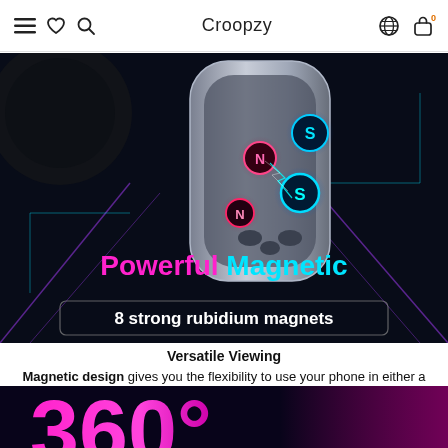Croopzy
[Figure (photo): Product promotional image of a magnetic phone holder device on dark background with glowing N/S magnet indicators, text reads 'Powerful Magnetic' in pink/cyan gradient and '8 strong rubidium magnets' in white on dark banner]
Versatile Viewing
Magnetic design gives you the flexibility to use your phone in either a landscape or portrait orientation. Have easier navigation with our holders ability to tilt and rotate 360 degrees.
[Figure (photo): Bottom strip of a promotional image showing large pink/magenta '360°' text on dark background with purple gradient]